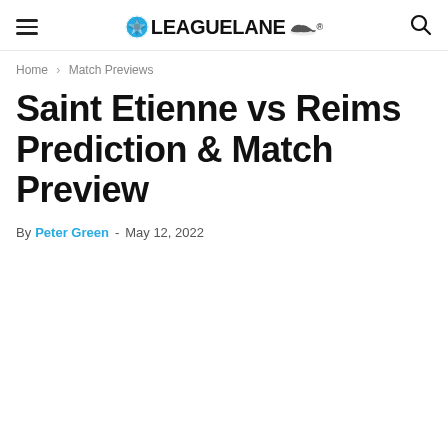LeagueLane
Home › Match Previews
Saint Etienne vs Reims Prediction & Match Preview
By Peter Green - May 12, 2022